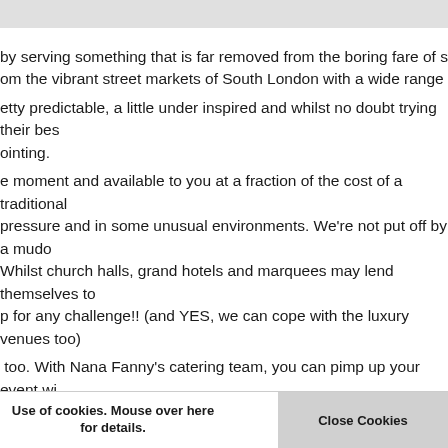by serving something that is far removed from the boring fare of so many events. Inspired from the vibrant street markets of South London with a wide range of salt b...
etty predictable, a little under inspired and whilst no doubt trying their best it's often a little disappointing.
e moment and available to you at a fraction of the cost of a traditional caterer. Under pressure and in some unusual environments. We're not put off by a muddy field or bad weather. Whilst church halls, grand hotels and marquees may lend themselves to catering we are up for any challenge!! (and YES, we can cope with the luxury venues too)
too. With Nana Fanny's catering team, you can pimp up your event with street food or how you transformed your event food from standard to inspired. Why
ive and uninteresting. Having your event catered by a street food vendor...
t to contact us and we'll inspire your event food ideas and turn the ordinary...
event caterer, we are the next generation of event event caterer.
Use of cookies. Mouse over here for details.